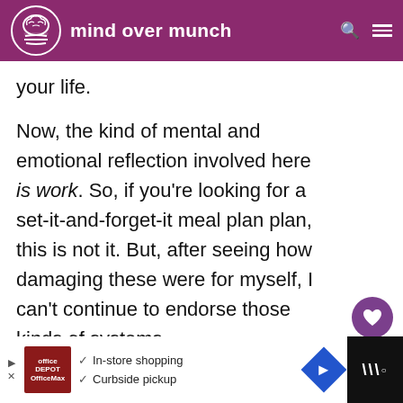mind over munch
your life.
Now, the kind of mental and emotional reflection involved here is work. So, if you're looking for a set-it-and-forget-it meal plan plan, this is not it. But, after seeing how damaging these were for myself, I can't continue to endorse those kinds of systems